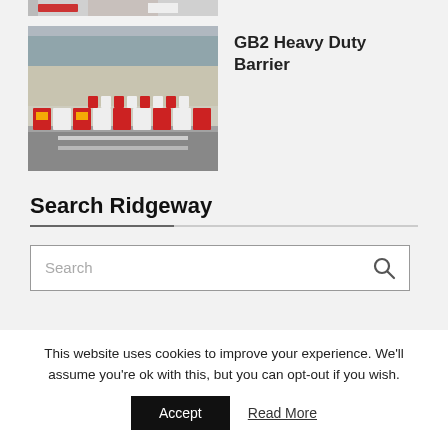[Figure (photo): Partial view of a product image cropped at top of page showing red and white elements]
[Figure (photo): Photo of GB2 Heavy Duty Barrier: red and white water-filled plastic barriers lined up on a road at an airport or logistics area]
GB2 Heavy Duty Barrier
Search Ridgeway
Search
This website uses cookies to improve your experience. We'll assume you're ok with this, but you can opt-out if you wish.
Accept
Read More